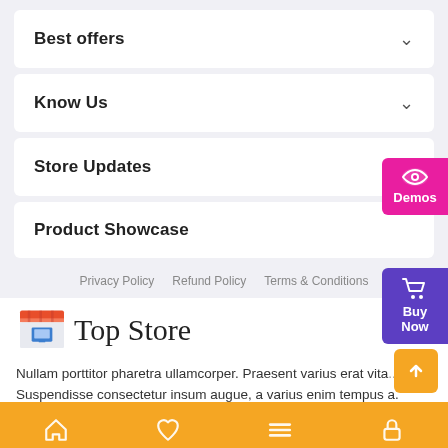Best offers
Know Us
Store Updates
Product Showcase
Privacy Policy   Refund Policy   Terms & Conditions
[Figure (logo): Top Store logo with store icon and text]
Nullam porttitor pharetra ullamcorper. Praesent varius erat vita... Suspendisse consectetur insum augue, a varius enim tempus a. Phasellus